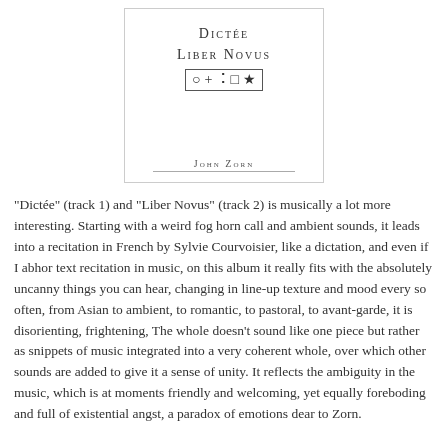[Figure (illustration): Album cover for 'Dictée / Liber Novus' by John Zorn. White cover with small-caps title text, a row of symbols (circle, plus, starburst, square, star) inside a bordered box, and author name at bottom with a horizontal rule.]
"Dictée" (track 1) and "Liber Novus" (track 2) is musically a lot more interesting. Starting with a weird fog horn call and ambient sounds, it leads into a recitation in French by Sylvie Courvoisier, like a dictation, and even if I abhor text recitation in music, on this album it really fits with the absolutely uncanny things you can hear, changing in line-up texture and mood every so often, from Asian to ambient, to romantic, to pastoral, to avant-garde, it is disorienting, frightening, The whole doesn't sound like one piece but rather as snippets of music integrated into a very coherent whole, over which other sounds are added to give it a sense of unity. It reflects the ambiguity in the music, which is at moments friendly and welcoming, yet equally foreboding and full of existential angst, a paradox of emotions dear to Zorn.